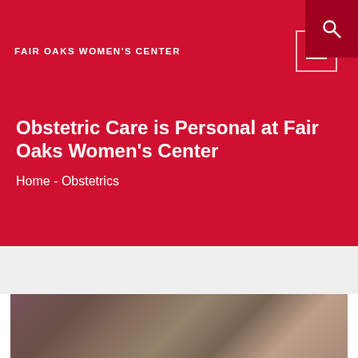FAIR OAKS WOMEN'S CENTER
Obstetric Care is Personal at Fair Oaks Women's Center
Home - Obstetrics
[Figure (photo): Blurred outdoor photo with pink flowers and dark foliage background]